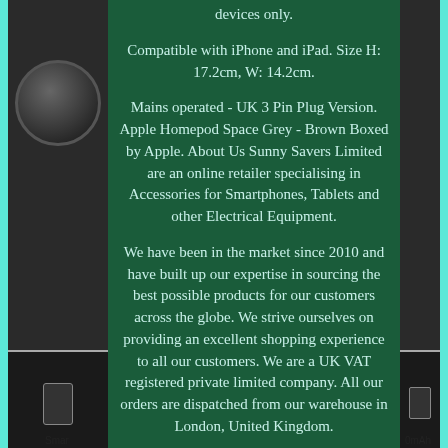devices only.
Compatible with iPhone and iPad. Size H: 17.2cm, W: 14.2cm.
Mains operated - UK 3 Pin Plug Version. Apple Homepod Space Grey - Brown Boxed by Apple. About Us Sunny Savers Limited are an online retailer specialising in Accessories for Smartphones, Tablets and other Electrical Equipment.
We have been in the market since 2010 and have built up our expertise in sourcing the best possible products for our customers across the globe. We strive ourselves on providing an excellent shopping experience to all our customers. We are a UK VAT registered private limited company. All our orders are dispatched from our warehouse in London, United Kingdom.
Smar
0mAh